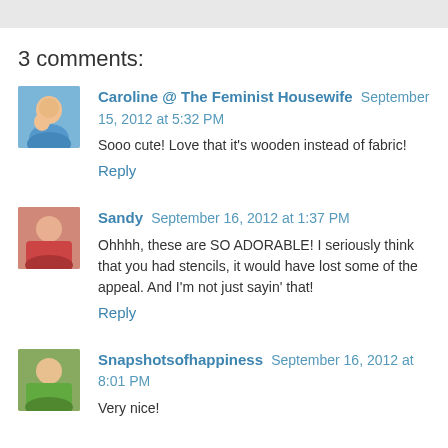3 comments:
Caroline @ The Feminist Housewife  September 15, 2012 at 5:32 PM
Sooo cute! Love that it's wooden instead of fabric!
Reply
Sandy  September 16, 2012 at 1:37 PM
Ohhhh, these are SO ADORABLE! I seriously think that you had stencils, it would have lost some of the appeal. And I'm not just sayin' that!
Reply
Snapshotsofhappiness  September 16, 2012 at 8:01 PM
Very nice!